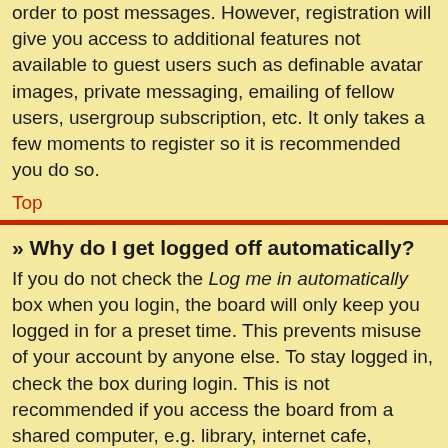order to post messages. However, registration will give you access to additional features not available to guest users such as definable avatar images, private messaging, emailing of fellow users, usergroup subscription, etc. It only takes a few moments to register so it is recommended you do so.
Top
» Why do I get logged off automatically?
If you do not check the Log me in automatically box when you login, the board will only keep you logged in for a preset time. This prevents misuse of your account by anyone else. To stay logged in, check the box during login. This is not recommended if you access the board from a shared computer, e.g. library, internet cafe, university computer lab, etc. If you do not see this checkbox, it means the board administrator has disabled this feature.